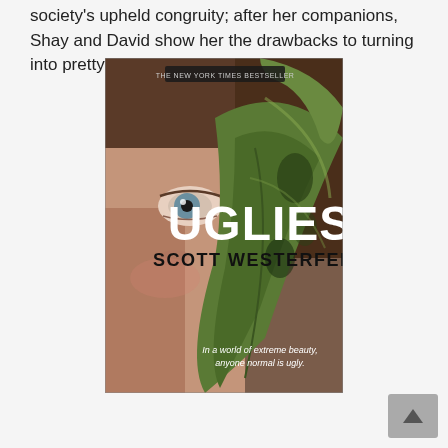society's upheld congruity; after her companions, Shay and David show her the drawbacks to turning into pretty.
[Figure (photo): Book cover of 'Uglies' by Scott Westerfeld. THE NEW YORK TIMES BESTSELLER label at top. Close-up of a child's face with blue eye and brown hair, partially obscured by large green leaves. Title 'UGLIES' in bold white capital letters, author name 'SCOTT WESTERFELD' in black capital letters. Tagline at bottom: 'In a world of extreme beauty, anyone normal is ugly.']